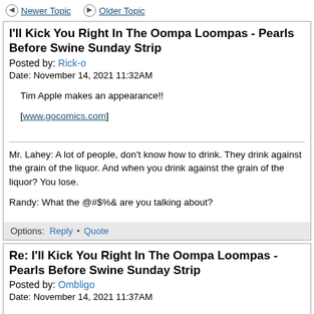Newer Topic   Older Topic
I'll Kick You Right In The Oompa Loompas - Pearls Before Swine Sunday Strip
Posted by: Rick-o
Date: November 14, 2021 11:32AM
Tim Apple makes an appearance!!

[www.gocomics.com]
Mr. Lahey: A lot of people, don't know how to drink. They drink against the grain of the liquor. And when you drink against the grain of the liquor? You lose.

Randy: What the @#$%& are you talking about?
Options:  Reply • Quote
Re: I'll Kick You Right In The Oompa Loompas - Pearls Before Swine Sunday Strip
Posted by: Ombligo
Date: November 14, 2021 11:37AM
Sounds about right.

I am beginning to think I have a data plan on my phone just to run